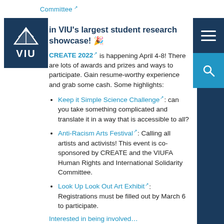Committee ↗
[Figure (logo): VIU (Vancouver Island University) logo — white sailboat icon above white VIU text on dark navy background]
in VIU's largest student research showcase! 🎉
CREATE 2022 ↗ is happening April 4-8! There are lots of awards and prizes and ways to participate. Gain resume-worthy experience and grab some cash. Some highlights:
Keep it Simple Science Challenge ↗: can you take something complicated and translate it in a way that is accessible to all?
Anti-Racism Arts Festival ↗: Calling all artists and activists! This event is co-sponsored by CREATE and the VIUFA Human Rights and International Solidarity Committee.
Look Up Look Out Art Exhibit ↗: Registrations must be filled out by March 6 to participate.
Rant-like-Rick ↗: the most cathartic way to spend two minutes at the end of the semester.
Interested in being involved…